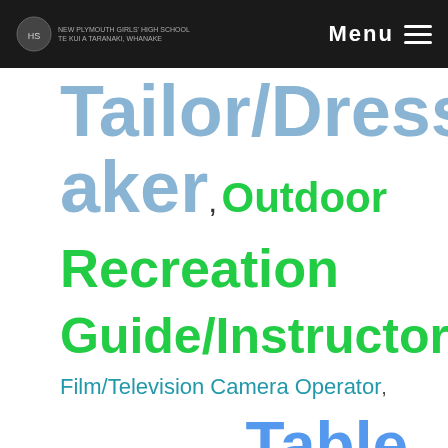Menu
Tailor/Dressmaker, Outdoor Recreation Guide/Instructor, Film/Television Camera Operator, Motor Vehicle Salesperson, Table
Tailor/Dressmaker, Outdoor Recreation Guide/Instructor, Film/Television Camera Operator, Motor Vehicle Salesperson, Table